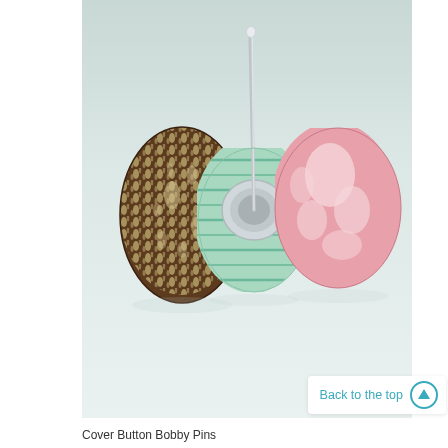[Figure (photo): Three fabric-covered button pins on a light grey/white surface. Left button has brown fabric with cream leaf/floral pattern. Center button is shown from the back with mint green patterned fabric and a silver pin/tack mechanism visible. Right button has pink fabric with white floral pattern.]
Back to the top
Cover Button Bobby Pins